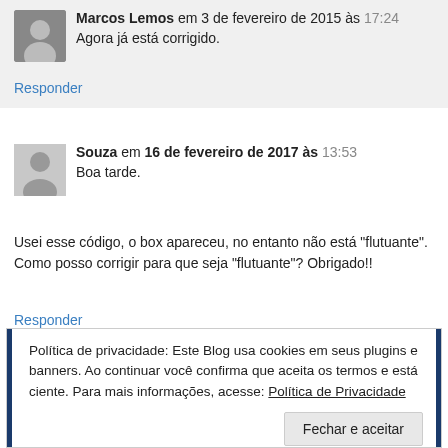Marcos Lemos em 3 de fevereiro de 2015 às 17:24
Agora já está corrigido.
Responder
Souza em 16 de fevereiro de 2017 às 13:53
Boa tarde.
Usei esse código, o box apareceu, no entanto não está "flutuante". Como posso corrigir para que seja "flutuante"? Obrigado!!
Responder
Política de privacidade: Este Blog usa cookies em seus plugins e banners. Ao continuar você confirma que aceita os termos e está ciente. Para mais informações, acesse: Política de Privacidade
Fechar e aceitar